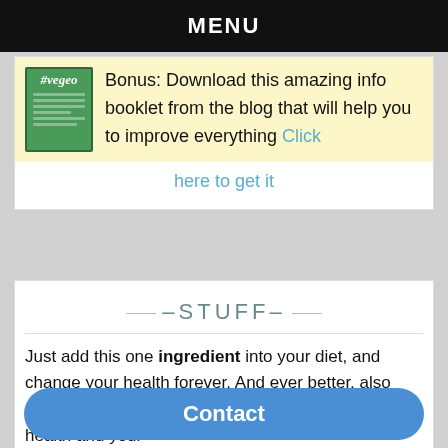MENU
[Figure (other): Green book cover with italic title #vegeo and lines of text]
Bonus: Download this amazing info booklet from the blog that will help you to improve everything Click here to get it
STUFF
Just add this one ingredient into your diet, and change your health forever. And ever better, also eliminate these five ingredients to change your health and your
Contact